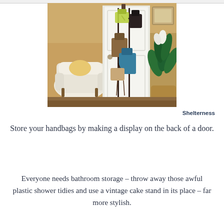[Figure (photo): A door with hanging rack displaying multiple handbags of various styles and colors. A white tufted armchair with yellow pillow is visible to the left, a green plant in a wicker basket to the right, and a framed picture on the golden-yellow textured wall in the background.]
Shelterness
Store your handbags by making a display on the back of a door.
Everyone needs bathroom storage – throw away those awful plastic shower tidies and use a vintage cake stand in its place – far more stylish.